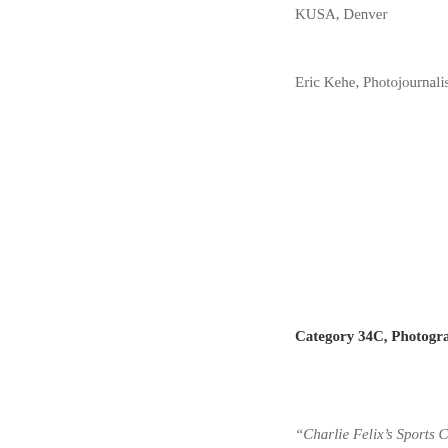KUSA, Denver
Eric Kehe, Photojournalist
Category 34C, Photograph
“Charlie Felix’s Sports Chro
Fox Sports Net Rocky Mou
Charlie Felix, Photographe